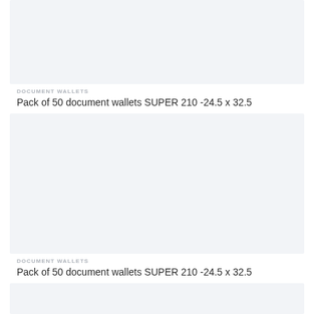[Figure (photo): Product image placeholder - light grey rectangle for document wallets]
DOCUMENT WALLETS
Pack of 50 document wallets SUPER 210 -24.5 x 32.5
[Figure (photo): Product image placeholder - light grey rectangle for document wallets]
DOCUMENT WALLETS
Pack of 50 document wallets SUPER 210 -24.5 x 32.5
[Figure (photo): Product image placeholder - light grey rectangle for document wallets]